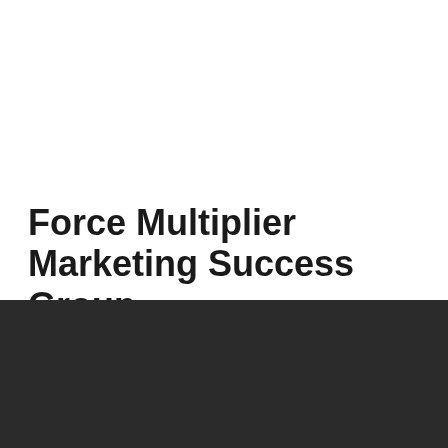[Figure (photo): Product or promotional image placeholder at the top of the page]
Force Multiplier Marketing Success Group
$47.00
This site uses cookies. By continuing to browse the site, you are agreeing to our use of cookies.
Accept settings
More Info